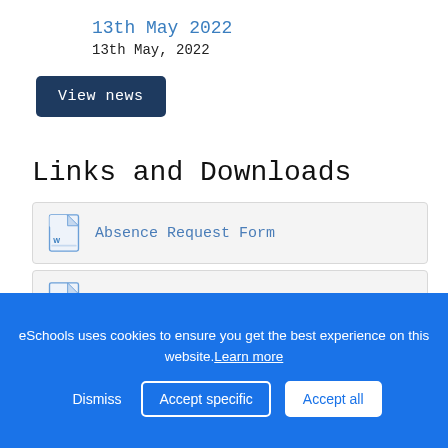13th May 2022
13th May, 2022
View news
Links and Downloads
Absence Request Form
Term Dates 2022 - 2023
Term Dates 2021 - 2022
eSchools uses cookies to ensure you get the best experience on this website. Learn more
Dismiss   Accept specific   Accept all